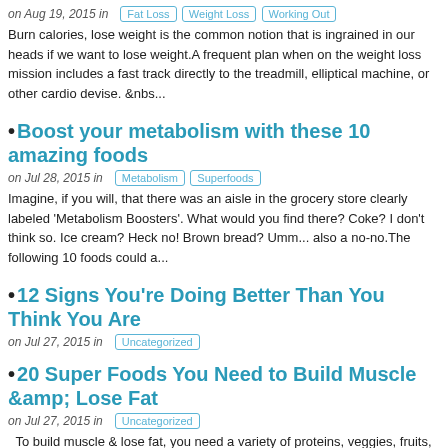on Aug 19, 2015 in  Fat Loss  Weight Loss  Working Out
Burn calories, lose weight is the common notion that is ingrained in our heads if we want to lose weight.A frequent plan when on the weight loss mission includes a fast track directly to the treadmill, elliptical machine, or other cardio devise. &nbs...
Boost your metabolism with these 10 amazing foods
on Jul 28, 2015 in  Metabolism  Superfoods
Imagine, if you will, that there was an aisle in the grocery store clearly labeled 'Metabolism Boosters'. What would you find there? Coke? I don't think so. Ice cream? Heck no! Brown bread? Umm... also a no-no.The following 10 foods could a...
12 Signs You're Doing Better Than You Think You Are
on Jul 27, 2015 in  Uncategorized
20 Super Foods You Need to Build Muscle &amp; Lose Fat
on Jul 27, 2015 in  Uncategorized
To build muscle & lose fat, you need a variety of proteins, veggies, fruits, carbs, and healthy fats. Eating protein helps building & maintaining muscle. But it also helps fat loss: protein has a higher thermic effect than carbs/fats.&n...
Read More